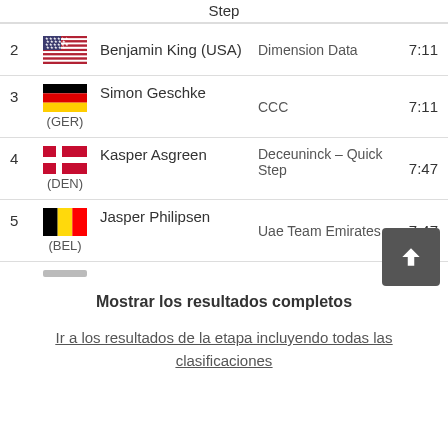Step
| # | Flag/Country | Rider | Team | Time |
| --- | --- | --- | --- | --- |
| 2 | USA | Benjamin King (USA) | Dimension Data | 7:11 |
| 3 | GER | Simon Geschke (GER) | CCC | 7:11 |
| 4 | DEN | Kasper Asgreen (DEN) | Deceuninck - Quick Step | 7:47 |
| 5 | BEL | Jasper Philipsen (BEL) | Uae Team Emirates | 7:47 |
Mostrar los resultados completos
Ir a los resultados de la etapa incluyendo todas las clasificaciones